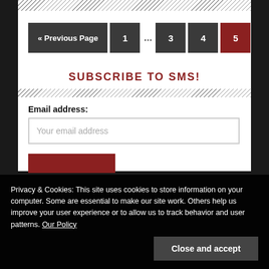« Previous Page  1  …  3  4  5
SUBSCRIBE TO SMS!
Email address:
Your email address
Privacy & Cookies: This site uses cookies to store information on your computer. Some are essential to make our site work. Others help us improve your user experience or to allow us to track behavior and user patterns. Our Policy
Close and accept